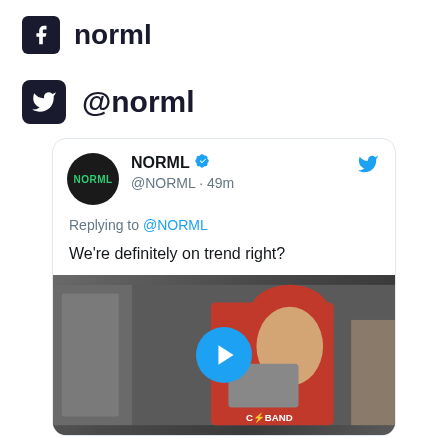norml
@norml
[Figure (screenshot): Embedded tweet from @NORML verified account, posted 49 minutes ago, replying to @NORML, with text 'We're definitely on trend right?' and an attached video thumbnail showing a man in a red beanie holding a skateboard with a play button overlay.]